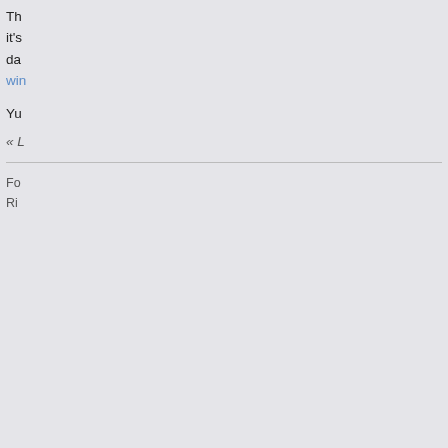Th... it's da... win...
Yu
« L
Fo... Ri...
MikeLima
Malibu Status
Posts: 69
[Figure (photo): Windsurfer or kiteboarder with a red wing/sail over blue water]
« R... 202...
Th...
[Figure (photo): Partially visible green circular image on right edge]